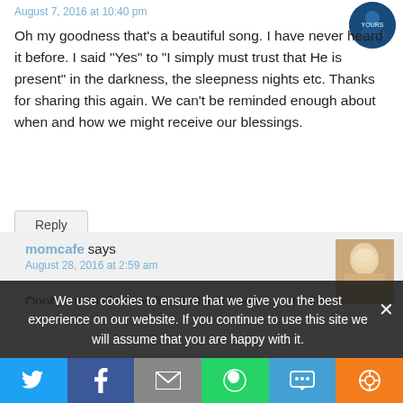August 7, 2016 at 10:40 pm
Oh my goodness that’s a beautiful song. I have never heard it before. I said “Yes” to “I simply must trust that He is present” in the darkness, the sleepness nights etc. Thanks for sharing this again. We can’t be reminded enough about when and how we might receive our blessings.
Reply
momcafe says
August 28, 2016 at 2:59 am
Oooh, I’m so glad you listened to it Kenya! Isn’t it just beautiful? It truly hits my heart deep, and yes- always good to be reminded to look for blessings in disguise. They are
We use cookies to ensure that we give you the best experience on our website. If you continue to use this site we will assume that you are happy with it.